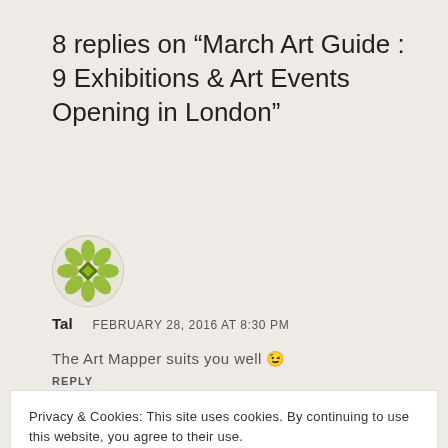8 replies on “March Art Guide : 9 Exhibitions & Art Events Opening in London”
[Figure (illustration): Circular avatar with green geometric/floral pattern on light background]
Tal   FEBRUARY 28, 2016 AT 8:30 PM
The Art Mapper suits you well 😉
REPLY
Privacy & Cookies: This site uses cookies. By continuing to use this website, you agree to their use.
To find out more, including how to control cookies, see here: Cookie Policy
Close and accept